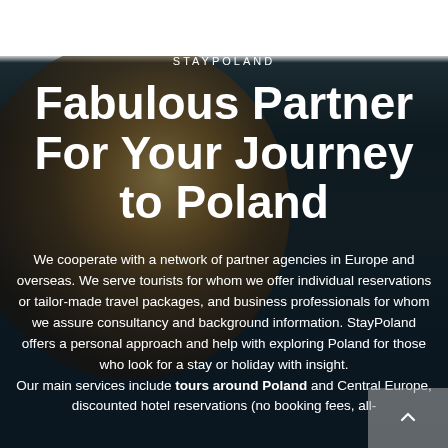[Figure (photo): Dark atmospheric background with a globe/sphere partially visible on the left side, with dark teal and black tones]
STAYPOLAND
Fabulous Partner For Your Journey to Poland
We cooperate with a network of partner agencies in Europe and overseas. We serve tourists for whom we offer individual reservations or tailor-made travel packages, and business professionals for whom we assure consultancy and background information. StayPoland offers a personal approach and help with exploring Poland for those who look for a stay or holiday with insight.
Our main services include tours around Poland and Central Europe, discounted hotel reservations (no booking fees, all-